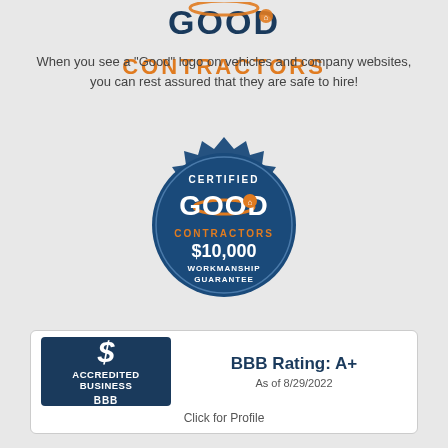[Figure (logo): Good Contractors logo with 'CONTRACTORS' in orange text at the top of the page]
When you see a "Good" logo on vehicles and company websites, you can rest assured that they are safe to hire!
[Figure (illustration): Certified Good Contractors seal badge in dark blue with orange accents, showing '$10,000 WORKMANSHIP GUARANTEE' text]
[Figure (logo): BBB Accredited Business logo with BBB Rating: A+ As of 8/29/2022. Click for Profile.]